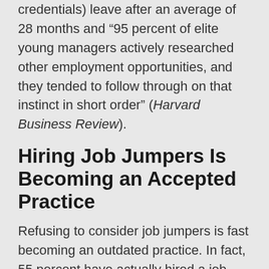credentials) leave after an average of 28 months and "95 percent of elite young managers actively researched other employment opportunities, and they tended to follow through on that instinct in short order" (Harvard Business Review).
Hiring Job Jumpers Is Becoming an Accepted Practice
Refusing to consider job jumpers is fast becoming an outdated practice. In fact, 55 percent have actually hired a job hopper and 32 perccent of all surveyed employers (and 42 percent in IT) have come to expect workers to job hop (CareerBuilder). If more than half the firms have found a way to hire job jumpers, you